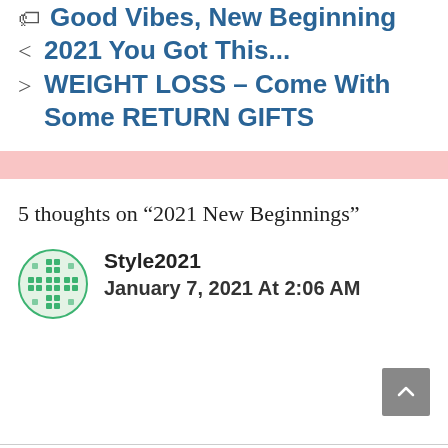Good Vibes, New Beginning
2021 You Got This...
WEIGHT LOSS – Come With Some RETURN GIFTS
5 thoughts on “2021 New Beginnings”
Style2021
January 7, 2021 At 2:06 AM